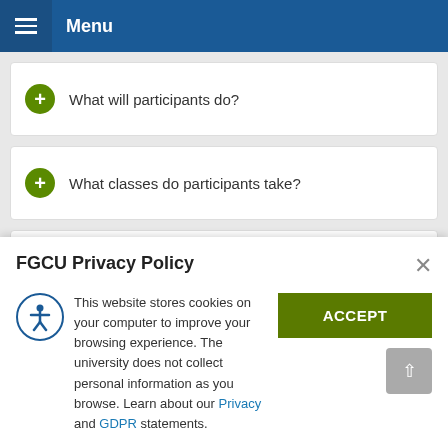Menu
What will participants do?
What classes do participants take?
What is the Runway Program?
Faculty and Staff Participation
FGCU Privacy Policy
This website stores cookies on your computer to improve your browsing experience. The university does not collect personal information as you browse. Learn about our Privacy and GDPR statements.